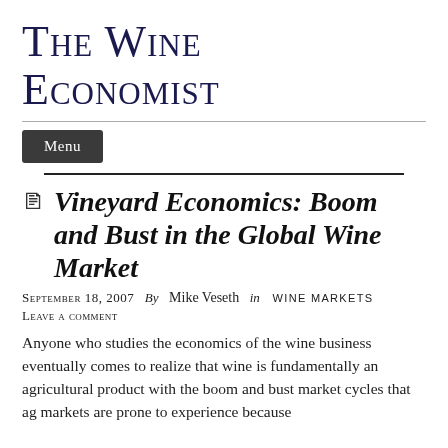The Wine Economist
Menu
Vineyard Economics: Boom and Bust in the Global Wine Market
September 18, 2007  By  Mike Veseth  in  WINE MARKETS
Leave a comment
Anyone who studies the economics of the wine business eventually comes to realize that wine is fundamentally an agricultural product with the boom and bust market cycles that ag markets are prone to experience because